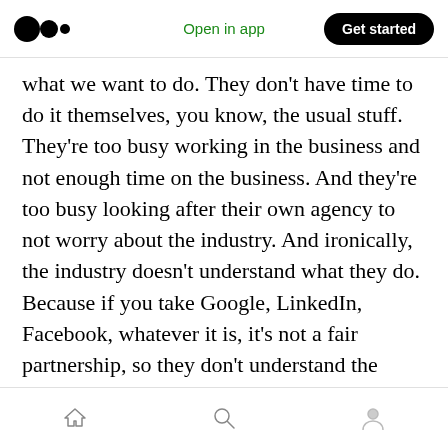Medium logo | Open in app | Get started
what we want to do. They don't have time to do it themselves, you know, the usual stuff. They're too busy working in the business and not enough time on the business. And they're too busy looking after their own agency to not worry about the industry. And ironically, the industry doesn't understand what they do. Because if you take Google, LinkedIn, Facebook, whatever it is, it's not a fair partnership, so they don't understand the needs of the individual agency. So it's an interesting dynamic there.
Martin Henley
Home | Search | Profile navigation icons